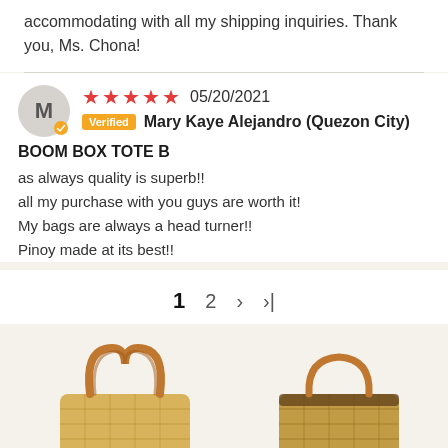accommodating with all my shipping inquiries. Thank you, Ms. Chona!
05/20/2021 Verified Mary Kaye Alejandro (Quezon City)
BOOM BOX TOTE B
as always quality is superb!!
all my purchase with you guys are worth it!
My bags are always a head turner!!
Pinoy made at its best!!
1  2  >  >|
[Figure (photo): Two woven straw tote bags with leather handles on a beige background]